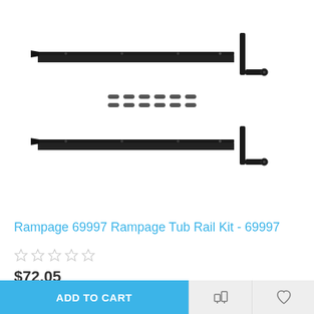[Figure (photo): Product photo showing two black metal tub rails (long flat bars with arrow-shaped ends) and two black L-shaped brackets, along with small hardware bolts/screws arranged in two rows in the center of the image, all on a white background.]
Rampage 69997 Rampage Tub Rail Kit - 69997
☆☆☆☆☆
$72.05
ADD TO CART